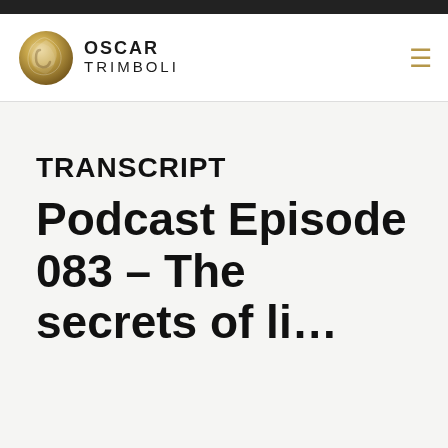Oscar Trimboli
TRANSCRIPT
Podcast Episode 083 – The secrets of listening f…